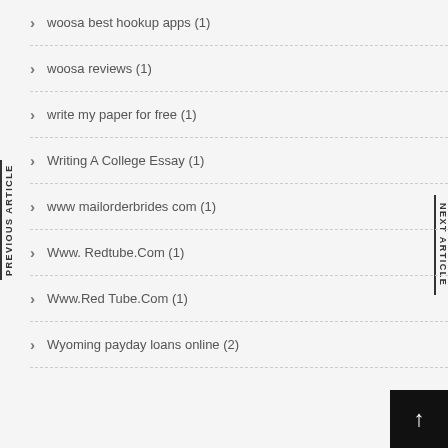woosa best hookup apps (1)
woosa reviews (1)
write my paper for free (1)
Writing A College Essay (1)
www mailorderbrides com (1)
Www. Redtube.Com (1)
Www.Red Tube.Com (1)
Wyoming payday loans online (2)